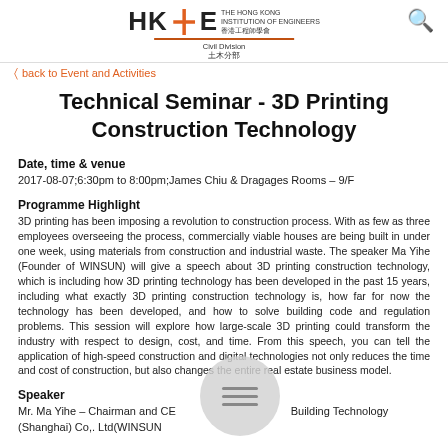HKIE THE HONG KONG INSTITUTION OF ENGINEERS 香港工程師學會 Civil Division 土木分部
back to Event and Activities
Technical Seminar - 3D Printing Construction Technology
Date, time & venue
2017-08-07;6:30pm to 8:00pm;James Chiu & Dragages Rooms – 9/F
Programme Highlight
3D printing has been imposing a revolution to construction process. With as few as three employees overseeing the process, commercially viable houses are being built in under one week, using materials from construction and industrial waste. The speaker Ma Yihe (Founder of WINSUN) will give a speech about 3D printing construction technology, which is including how 3D printing technology has been developed in the past 15 years, including what exactly 3D printing construction technology is, how far for now the technology has been developed, and how to solve building code and regulation problems. This session will explore how large-scale 3D printing could transform the industry with respect to design, cost, and time. From this speech, you can tell the application of high-speed construction and digital technologies not only reduces the time and cost of construction, but also changes the entire real estate business model.
Speaker
Mr. Ma Yihe – Chairman and CEO of Yingchuang Building Technology (Shanghai) Co,. Ltd(WINSUN)